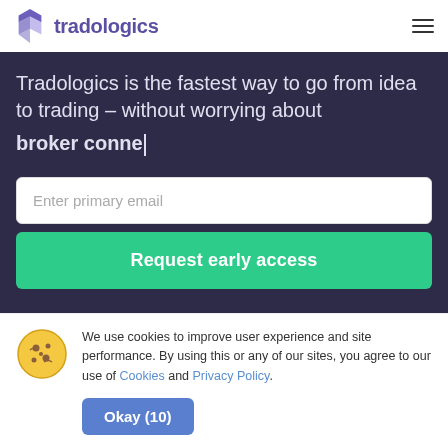tradologics
Tradologics is the fastest way to go from idea to trading – without worrying about broker conne|
Enter primary email
Request early access
We use cookies to improve user experience and site performance. By using this or any of our sites, you agree to our use of Cookies and Privacy Policy.
Okay (10)